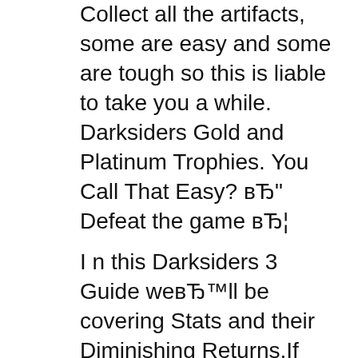Collect all the artifacts, some are easy and some are tough so this is liable to take you a while. Darksiders Gold and Platinum Trophies. You Call That Easy? вЂ" Defeat the game вЂ¦
I n this Darksiders 3 Guide weвЂ™ll be covering Stats and their Diminishing Returns.If youвЂ™re a Min/Max player who wants to know what the breakdown is for how you вЂ¦ Is it ever explained what the Black and Red "Angel" monsters you fight are? I kept waiting for an explanation, but neither the Watcher or the Hellgaurd ever comment on them. (I always assumed they were fallen angels given that the game was based on the Bible's version of the